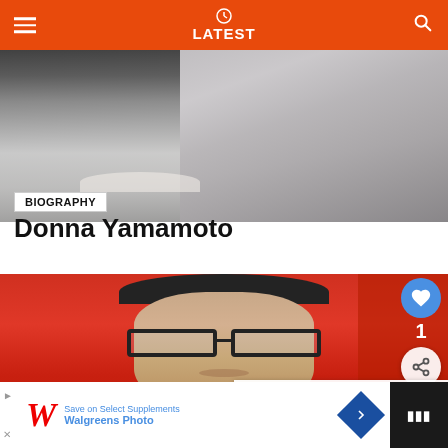LATEST
[Figure (photo): Cropped photo of a woman in a gray sweater, top portion (neck/chest area visible), black and white/grayscale tones]
BIOGRAPHY
Donna Yamamoto
[Figure (photo): Photo of a man with glasses in front of a red Entertainment Weekly backdrop. Social panel with heart (1 like) and share icons on the right. 'WHAT'S NEXT' panel showing 'Graham Lay Net worth...']
[Figure (screenshot): Advertisement bar: Walgreens Photo ad with text 'Save on Select Supplements' and 'Walgreens Photo']